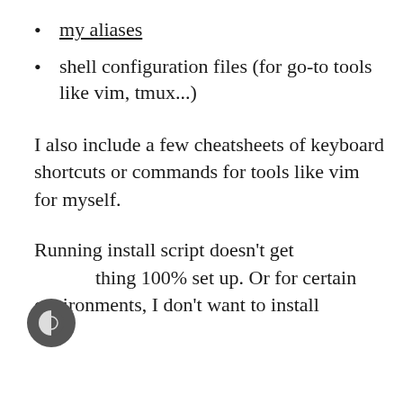my aliases
shell configuration files (for go-to tools like vim, tmux...)
I also include a few cheatsheets of keyboard shortcuts or commands for tools like vim for myself.
Running install script doesn't get everything 100% set up. Or for certain environments, I don't want to install